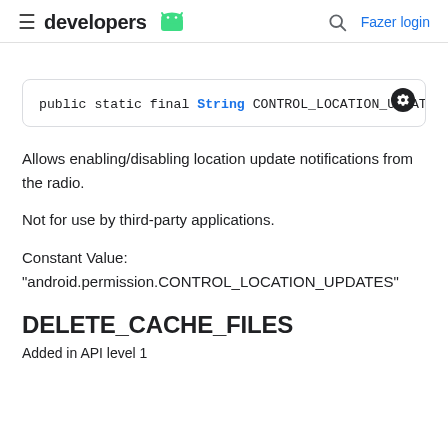≡ developers 🤖  🔍  Fazer login
public static final String CONTROL_LOCATION_UPDATES
Allows enabling/disabling location update notifications from the radio.
Not for use by third-party applications.
Constant Value:
"android.permission.CONTROL_LOCATION_UPDATES"
DELETE_CACHE_FILES
Added in API level 1